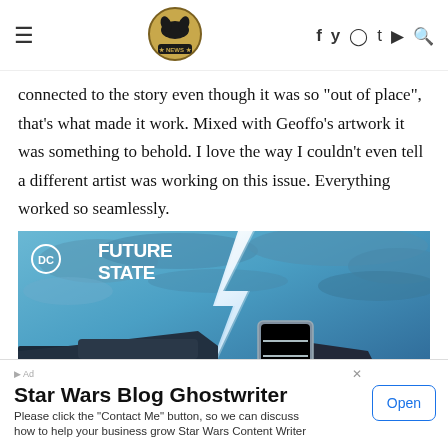Dark Knight News — navigation header with logo and social icons
connected to the story even though it was so "out of place", that's what made it work. Mixed with Geoffo's artwork it was something to behold. I love the way I couldn't even tell a different artist was working on this issue. Everything worked so seamlessly.
[Figure (illustration): DC Future State promotional image featuring a lightning bolt and a weapon or vehicle handle against a blue cloudy sky background, with the DC Future State logo in the upper left.]
Star Wars Blog Ghostwriter
Please click the "Contact Me" button, so we can discuss how to help your business grow Star Wars Content Writer